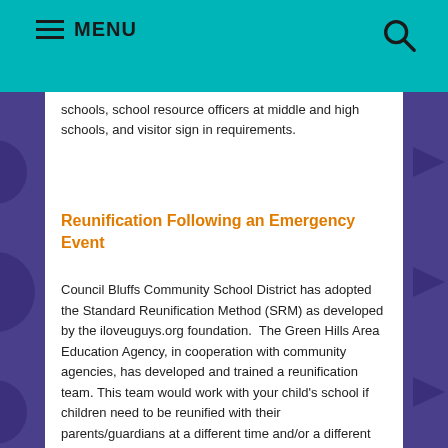MENU
schools, school resource officers at middle and high schools, and visitor sign in requirements.
Reunification Following an Emergency Event
Council Bluffs Community School District has adopted the Standard Reunification Method (SRM) as developed by the iloveuguys.org foundation. The Green Hills Area Education Agency, in cooperation with community agencies, has developed and trained a reunification team. This team would work with your child's school if children need to be reunified with their parents/guardians at a different time and/or a different location following an emergency event. If reunification is